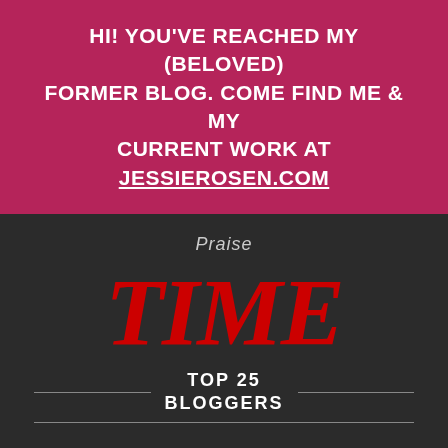HI! YOU'VE REACHED MY (BELOVED) FORMER BLOG. COME FIND ME & MY CURRENT WORK AT JESSIEROSEN.COM
Praise
[Figure (logo): TIME magazine logo in bold red serif font, followed by 'TOP 25 BLOGGERS' in white bold uppercase text with horizontal divider lines on either side]
[Figure (logo): Forbes logo in blue italic serif font, partially visible at bottom of page]